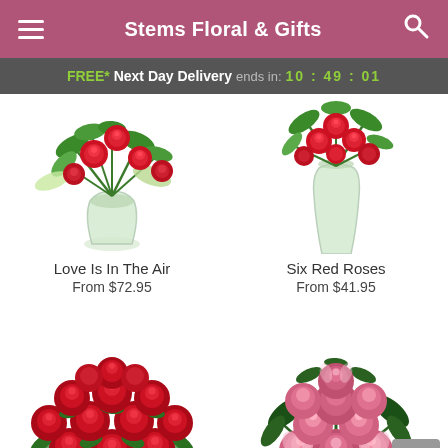Stems Floral & Gifts
FREE* Next Day Delivery ends in: 10:49:01
[Figure (photo): Floral arrangement Love Is In The Air - red roses in a round glass vase with greenery]
Love Is In The Air
From $72.95
[Figure (photo): Six Red Roses in a tall glass vase with greenery]
Six Red Roses
From $41.95
[Figure (photo): Large bouquet of red roses with baby's breath and green leaves]
[Figure (photo): Bouquet of pink roses with dark green foliage]